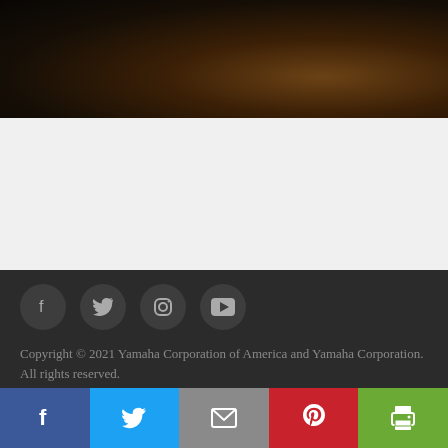[Figure (photo): Dark moody image with warm amber/brown tones, likely a musician or music-related scene with dark background]
THE 10 BEST MUSICIAN BIOPICS TO STREAM
[Figure (infographic): Social media icon buttons: Facebook, Twitter, Instagram, YouTube — dark circular backgrounds on dark footer]
Copyright © 2021 Yamaha Corporation of America and Yamaha Corporation. All rights reserved. Terms of Use | Privacy Policy | Accessibility
[Figure (infographic): Share bar at bottom with five colored buttons: Facebook (blue), Twitter (light blue), Email (gray), Pinterest (red), Print (green)]